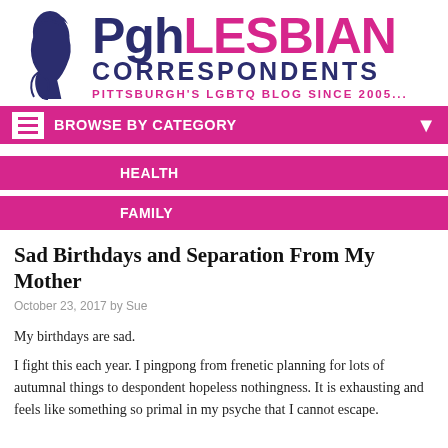[Figure (logo): PghLESBIAN Correspondents logo with silhouette of woman's profile on left, bold text 'Pgh' in dark blue and 'LESBIAN' in pink, 'CORRESPONDENTS' in dark blue below, tagline "PITTSBURGH'S LGBTQ BLOG SINCE 2005..." in pink]
BROWSE BY CATEGORY
HEALTH
FAMILY
Sad Birthdays and Separation From My Mother
October 23, 2017 by Sue
My birthdays are sad.
I fight this each year. I pingpong from frenetic planning for lots of autumnal things to despondent hopeless nothingness. It is exhausting and feels like something so primal in my psyche that I cannot escape.